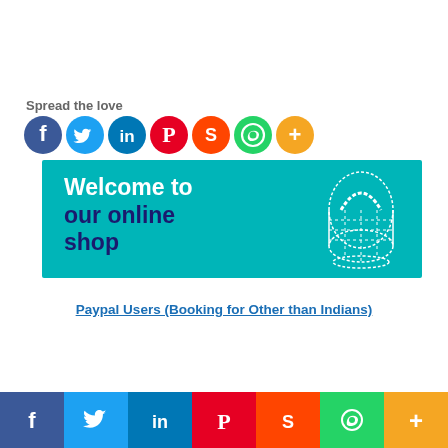Spread the love
[Figure (infographic): Row of 7 social media share buttons as colored circles: Facebook (blue), Twitter (light blue), LinkedIn (blue), Pinterest (red), Reddit (orange-red), WhatsApp (green), More/Plus (orange)]
[Figure (illustration): Welcome to our online shop banner with teal background, white and dark blue text, and a white wicker basket illustration on the right]
Paypal Users (Booking for Other than Indians)
[Figure (infographic): Bottom social share bar with 7 sections: Facebook (dark blue), Twitter (teal), LinkedIn (blue), Pinterest (red), Reddit (orange-red), WhatsApp (green), More/Plus (orange)]